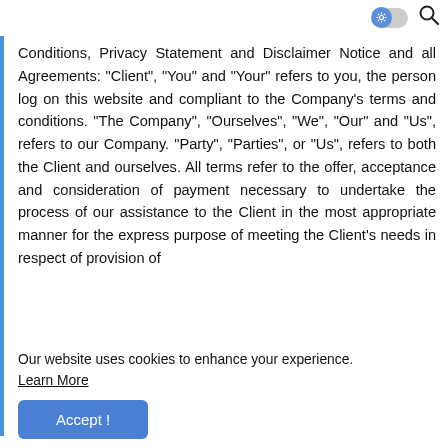[toggle icon] [search icon]
Conditions, Privacy Statement and Disclaimer Notice and all Agreements: "Client", "You" and "Your" refers to you, the person log on this website and compliant to the Company's terms and conditions. "The Company", "Ourselves", "We", "Our" and "Us", refers to our Company. "Party", "Parties", or "Us", refers to both the Client and ourselves. All terms refer to the offer, acceptance and consideration of payment necessary to undertake the process of our assistance to the Client in the most appropriate manner for the express purpose of meeting the Client's needs in respect of provision of
Our website uses cookies to enhance your experience. Learn More
Accept !